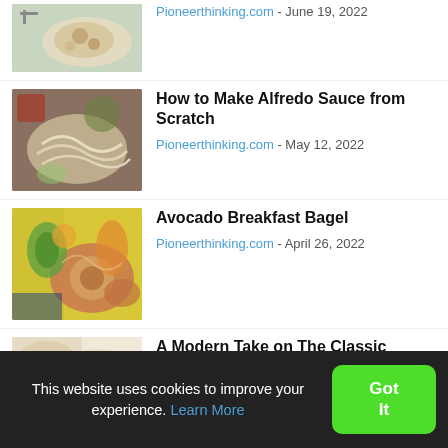[Figure (photo): Food photo thumbnail - partially visible dish with fork, top of page]
Pioneerthinking.com - June 19, 2022
[Figure (photo): Food photo thumbnail - pasta or noodle dish]
How to Make Alfredo Sauce from Scratch
Pioneerthinking.com - May 12, 2022
[Figure (photo): Food photo thumbnail - avocado breakfast bagel on yellow background]
Avocado Breakfast Bagel
Pioneerthinking.com - April 26, 2022
[Figure (photo): Food photo thumbnail - finger sandwich with pasta salad]
A Modern Take on The Classic Finger Sandwich
Pioneerthinking.com - [date cut off]
This website uses cookies to improve your experience. Learn More